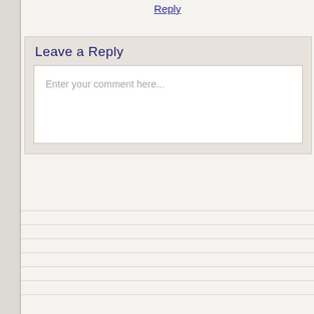Reply
Leave a Reply
Enter your comment here...